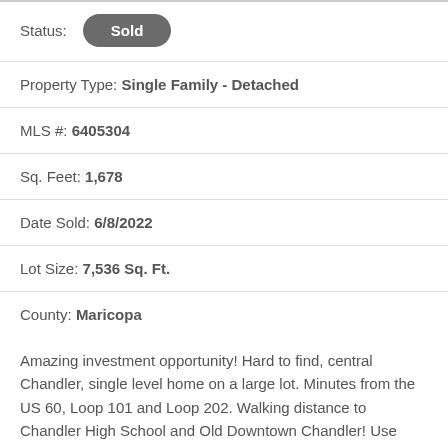Status: Sold
Property Type: Single Family - Detached
MLS #: 6405304
Sq. Feet: 1,678
Date Sold: 6/8/2022
Lot Size: 7,536 Sq. Ft.
County: Maricopa
Amazing investment opportunity! Hard to find, central Chandler, single level home on a large lot. Minutes from the US 60, Loop 101 and Loop 202. Walking distance to Chandler High School and Old Downtown Chandler! Use your imagination and home improvement skills to really make this